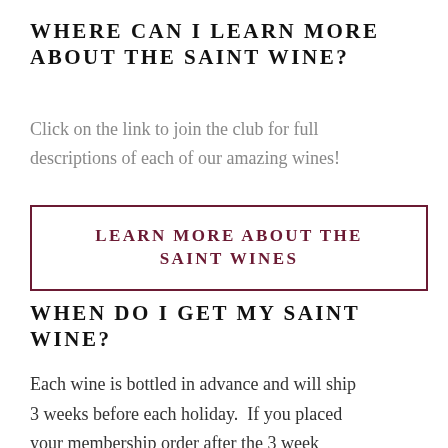WHERE CAN I LEARN MORE ABOUT THE SAINT WINE?
Click on the link to join the club for full descriptions of each of our amazing wines!
LEARN MORE ABOUT THE SAINT WINES
WHEN DO I GET MY SAINT WINE?
Each wine is bottled in advance and will ship 3 weeks before each holiday.  If you placed your membership order after the 3 week deadline, you may not receive your first f...